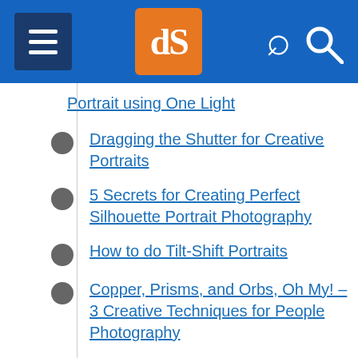dPS navigation header
Portrait using One Light
Dragging the Shutter for Creative Portraits
5 Secrets for Creating Perfect Silhouette Portrait Photography
How to do Tilt-Shift Portraits
Copper, Prisms, and Orbs, Oh My! – 3 Creative Techniques for People Photography
Portrait Tip: Add Interest and Movement into Your Shots with Wind
Glitter Portrait: How I Took It